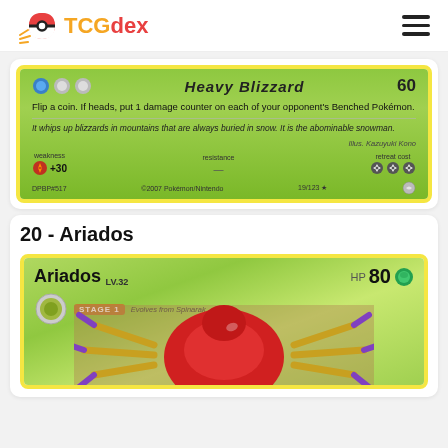TCGdex
[Figure (photo): Bottom portion of a Pokemon card showing Heavy Blizzard attack text, flavor text, weakness +30 fire, resistance, retreat cost 3 stars, DPBP#517, ©2007 Pokemon/Nintendo, 19/123 rarity star, Illus. Kazuyuki Kano]
20 - Ariados
[Figure (photo): Top portion of Ariados LV.32 HP 80 Grass type Pokemon card, Stage 1 Evolves from Spinarak, showing Ariados illustration - a large red spider-like Pokemon with yellow and purple legs]